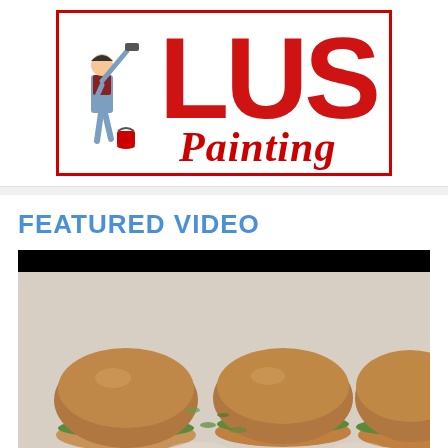[Figure (logo): Luis Painting company logo: a cartoon painter figure holding a roller on a red bordered box with red script 'Painting' text and large red block letters]
FEATURED VIDEO
[Figure (photo): Video thumbnail showing mini burgers/sliders with green sprouts/micro-greens on a light background, with a black letterbox bar at the top]